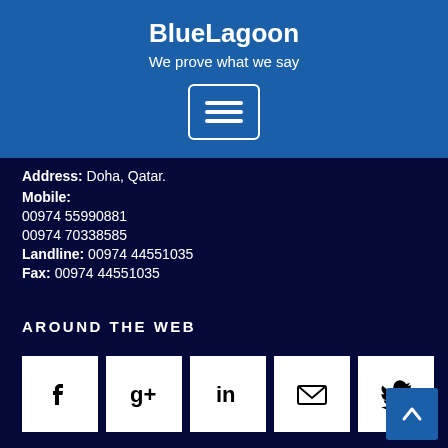BlueLagoon
We prove what we say
[Figure (other): Menu/hamburger icon in white border box]
Address: Doha, Qatar.
Mobile:
00974 55990881
00974 70338585
Landline: 00974 44551035
Fax: 00974 44551035
AROUND THE WEB
[Figure (other): Row of 5 social media icons: Facebook, Google+, LinkedIn, Email, Twitter]